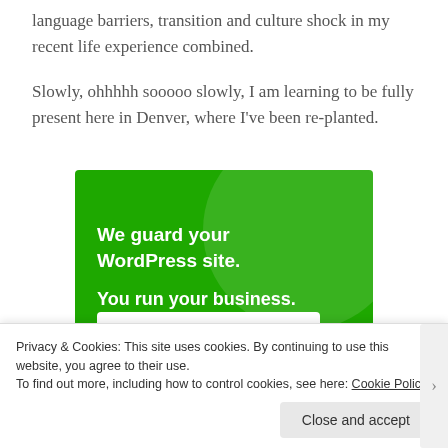language barriers, transition and culture shock in my recent life experience combined.

Slowly, ohhhhh sooooo slowly, I am learning to be fully present here in Denver, where I've been re-planted.
[Figure (infographic): Green advertisement banner reading 'We guard your WordPress site. You run your business.' with a 'Secure Your Site' button in white.]
Privacy & Cookies: This site uses cookies. By continuing to use this website, you agree to their use.
To find out more, including how to control cookies, see here: Cookie Policy
Close and accept